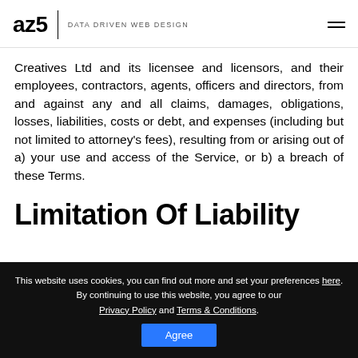az5 | DATA DRIVEN WEB DESIGN
Creatives Ltd and its licensee and licensors, and their employees, contractors, agents, officers and directors, from and against any and all claims, damages, obligations, losses, liabilities, costs or debt, and expenses (including but not limited to attorney's fees), resulting from or arising out of a) your use and access of the Service, or b) a breach of these Terms.
Limitation Of Liability
This website uses cookies, you can find out more and set your preferences here. By continuing to use this website, you agree to our Privacy Policy and Terms & Conditions. Agree